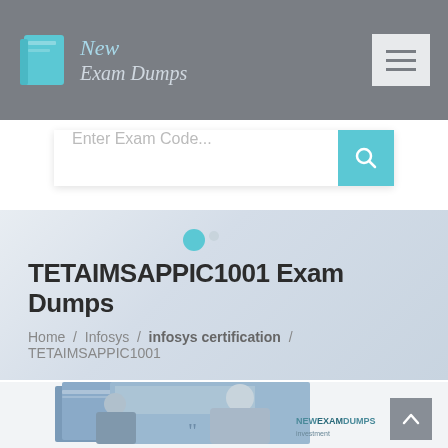[Figure (logo): New Exam Dumps logo with book icon and stylized text in header navigation bar]
Enter Exam Code...
TETAIMSAPPIC1001 Exam Dumps
Home / Infosys / infosys certification / TETAIMSAPPIC1001
[Figure (photo): Product box with person holding exam dumps materials, NEWEXAMDUMPS branding visible]